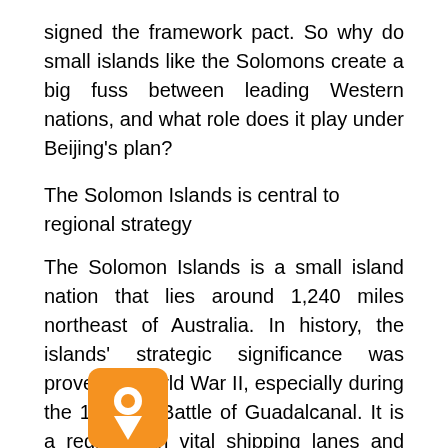signed the framework pact. So why do small islands like the Solomons create a big fuss between leading Western nations, and what role does it play under Beijing's plan?
The Solomon Islands is central to regional strategy
The Solomon Islands is a small island nation that lies around 1,240 miles northeast of Australia. In history, the islands' strategic significance was proven in World War II, especially during the 1942-43 Battle of Guadalcanal. It is a region with vital shipping lanes and fishing areas in modern days. More importantly, Australia Home Affairs Minister Karen Andrews said the island was Australia's backyard.
In addition, Guam, a critical U.S. military base in East Asia, is not far from the Solomon Islands.
[Figure (logo): Orange circular logo with a location pin icon]